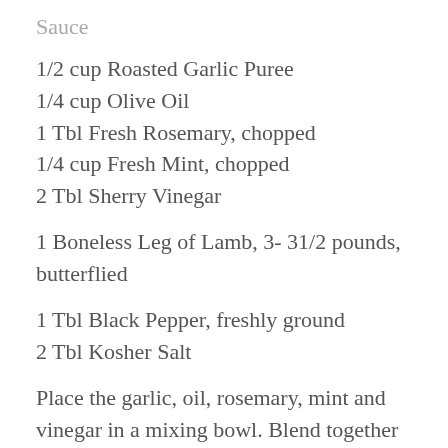Sauce
1/2 cup Roasted Garlic Puree
1/4 cup Olive Oil
1 Tbl Fresh Rosemary, chopped
1/4 cup Fresh Mint, chopped
2 Tbl Sherry Vinegar
1 Boneless Leg of Lamb, 3- 31/2 pounds, butterflied
1 Tbl Black Pepper, freshly ground
2 Tbl Kosher Salt
Place the garlic, oil, rosemary, mint and vinegar in a mixing bowl. Blend together using